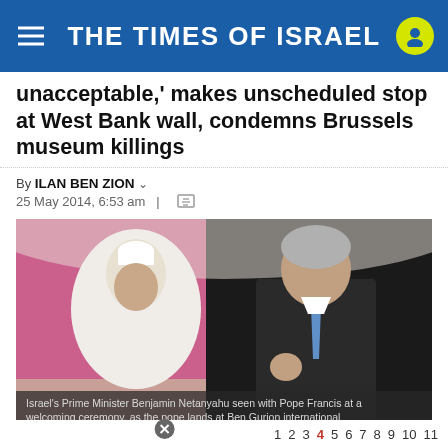THE TIMES OF ISRAEL
unacceptable,' makes unscheduled stop at West Bank wall, condemns Brussels museum killings
By ILAN BEN ZION
25 May 2014, 6:53 am
[Figure (photo): Israel's Prime Minister Benjamin Netanyahu seen with Pope Francis at a welcoming ceremony, as the pope lands at Ben Gurion international airport, near Tel Aviv, May 25, 2014 (photo credit: Miriam Alster/Flash90)]
Israel's Prime Minister Benjamin Netanyahu seen with Pope Francis at a welcoming ceremony, as the pope lands at Ben Gurion international airport, near Tel Aviv, May 25, 2014 (photo credit: Miriam Alster/Flash90)
1 2 3 4 5 6 7 8 9 10 11